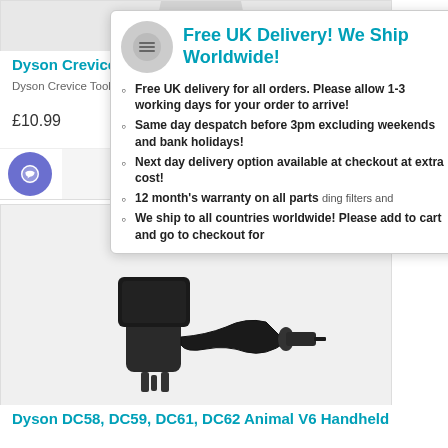[Figure (photo): Dyson product image top portion, showing 'dyson' text on product]
Dyson Crevice Tool Iron
Dyson Crevice Tool Iron   Part Number: QUATLS333 - Dyson Crevice T..
£10.99
[Figure (infographic): Free UK Delivery popup with icon. Title: Free UK Delivery! We Ship Worldwide! Bullet points listing delivery info.]
Free UK delivery for all orders. Please allow 1-3 working days for your order to arrive!
Same day despatch before 3pm excluding weekends and bank holidays!
Next day delivery option available at checkout at extra cost!
12 month's warranty on all parts ding filters and
We ship to all countries worldwide! Please add to cart and go to checkout for
Charger For Dyson
[Figure (photo): Dyson DC58, DC59, DC61, DC62 Animal V6 Handheld charger power adapter with cable]
Dyson DC58, DC59, DC61, DC62 Animal V6 Handheld